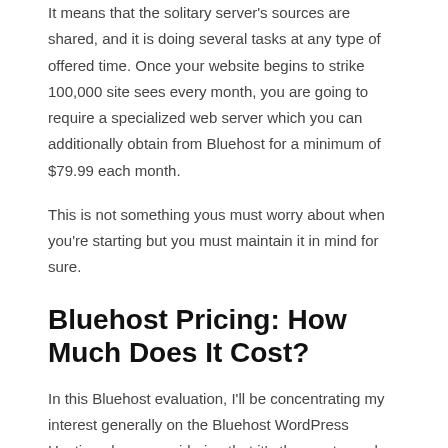It means that the solitary server's sources are shared, and it is doing several tasks at any type of offered time. Once your website begins to strike 100,000 site sees every month, you are going to require a specialized web server which you can additionally obtain from Bluehost for a minimum of $79.99 each month.
This is not something yous must worry about when you're starting but you must maintain it in mind for sure.
Bluehost Pricing: How Much Does It Cost?
In this Bluehost evaluation, I'll be concentrating my interest generally on the Bluehost WordPress Hosting plans, considering that it's the most popular one, and also highly likely the one that you're searching for and that will suit you the most effective (unless you're a big brand, company or site).